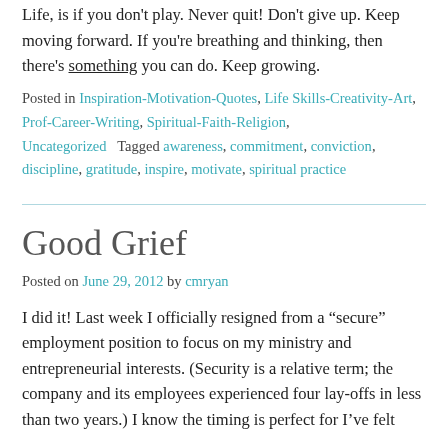Life, is if you don't play. Never quit! Don't give up. Keep moving forward. If you're breathing and thinking, then there's something you can do. Keep growing.
Posted in Inspiration-Motivation-Quotes, Life Skills-Creativity-Art, Prof-Career-Writing, Spiritual-Faith-Religion, Uncategorized   Tagged awareness, commitment, conviction, discipline, gratitude, inspire, motivate, spiritual practice
Good Grief
Posted on June 29, 2012 by cmryan
I did it! Last week I officially resigned from a “secure” employment position to focus on my ministry and entrepreneurial interests. (Security is a relative term; the company and its employees experienced four lay-offs in less than two years.) I know the timing is perfect for I’ve felt